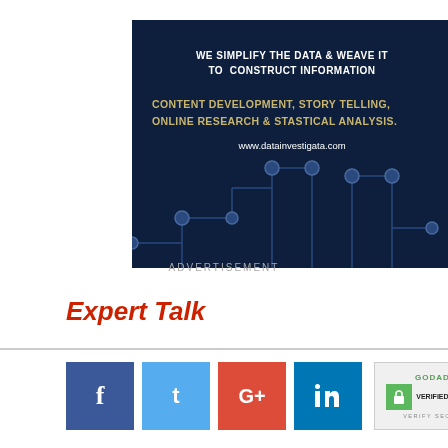[Figure (infographic): Dark navy blue advertisement banner for datainvestigata.com with white bold text reading 'WE SIMPLIFY THE DATA & WEAVE IT TO CONSTRUCT INFORMATION', gold/yellow bold text reading 'CONTENT DEVELOPMENT, STORY TELLING, ONLINE RESEARCH & STASTICAL ANALYSIS.', white URL text 'www.datainvestigata.com', and a network/circuit diagram illustration at the bottom with nodes and connecting lines.]
ADVERTISEMENT
Expert Talk
[Figure (infographic): Social media sharing buttons row: Facebook (dark blue), Twitter (light blue), Google+ (red), LinkedIn (blue), plus GoDaddy Verified & Secured badge on the right.]